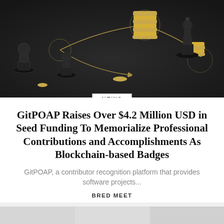[Figure (photo): Dark background with black chess pieces (pawns and a bishop) arranged among stacks of gold coins, with gold arrows connecting them on a dark surface.]
NEWS
GitPOAP Raises Over $4.2 Million USD in Seed Funding To Memorialize Professional Contributions and Accomplishments As Blockchain-based Badges
GitPOAP, a contributor recognition platform that provides software projects...
BRED MEET
[Figure (photo): Partial view of an office or workspace background, light-colored.]
[Figure (infographic): Advertisement banner with dark navy background. Text reads 'YOUR NEWS' and 'RYPTO WEBSITES' in large cyan italic bold font. Orange 'JOIN US' button on the right. Orange circular logo on far right. Orange dot decorative element at top center.]
[Figure (photo): Partial bottom image, dark tones, appears to be a workspace or tech environment.]